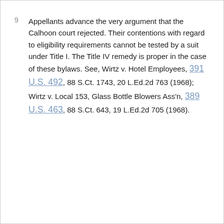9  Appellants advance the very argument that the Calhoon court rejected. Their contentions with regard to eligibility requirements cannot be tested by a suit under Title I. The Title IV remedy is proper in the case of these bylaws. See, Wirtz v. Hotel Employees, 391 U.S. 492, 88 S.Ct. 1743, 20 L.Ed.2d 763 (1968); Wirtz v. Local 153, Glass Bottle Blowers Ass'n, 389 U.S. 463, 88 S.Ct. 643, 19 L.Ed.2d 705 (1968).